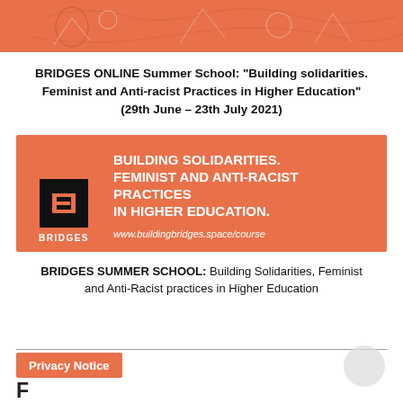[Figure (illustration): Orange header banner with illustrated figures/silhouettes in line art style]
BRIDGES ONLINE Summer School: “Building solidarities. Feminist and Anti-racist Practices in Higher Education” (29th June – 23th July 2021)
[Figure (logo): BRIDGES logo on orange background with white bold text: BUILDING SOLIDARITIES. FEMINIST AND ANTI-RACIST PRACTICES IN HIGHER EDUCATION. and URL www.buildingbridges.space/course]
BRIDGES SUMMER SCHOOL: Building Solidarities, Feminist and Anti-Racist practices in Higher Education
Privacy Notice